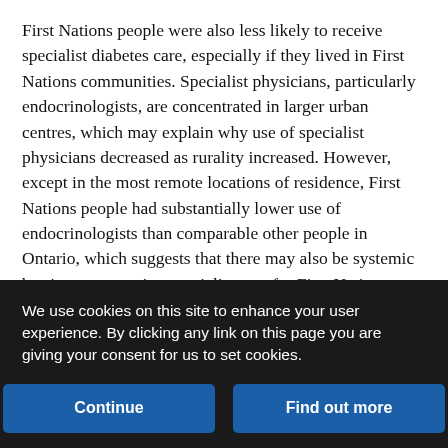First Nations people were also less likely to receive specialist diabetes care, especially if they lived in First Nations communities. Specialist physicians, particularly endocrinologists, are concentrated in larger urban centres, which may explain why use of specialist physicians decreased as rurality increased. However, except in the most remote locations of residence, First Nations people had substantially lower use of endocrinologists than comparable other people in Ontario, which suggests that there may also be systemic barriers to accessing specialist care for First Nations people. This gap in access to specialty care has been previously reported for diabetes[22] and other chronic conditions.[23–25]
Hospital admissions for ambulatory-care–sensitive conditions are a
We use cookies on this site to enhance your user experience. By clicking any link on this page you are giving your consent for us to set cookies.